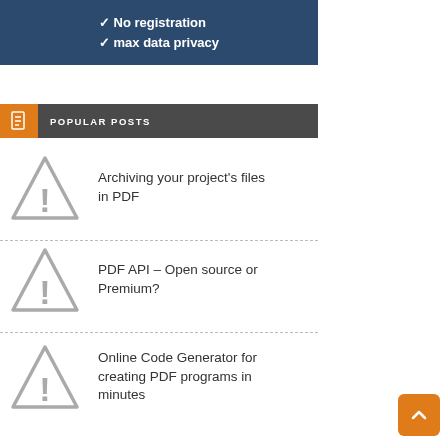[Figure (screenshot): Blue banner with white text: checkmark No registration, checkmark max data privacy]
POPULAR POSTS
Archiving your project's files in PDF
PDF API – Open source or Premium?
Online Code Generator for creating PDF programs in minutes